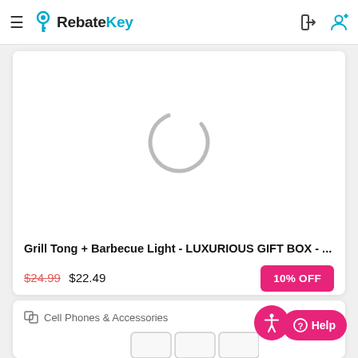RebateKey
[Figure (screenshot): Product image loading spinner (circular loading indicator) for Grill Tong + Barbecue Light product]
Grill Tong + Barbecue Light - LUXURIOUS GIFT BOX - ...
$24.99 $22.49
10% OFF
Cell Phones & Accessories
[Figure (photo): Partially visible phone case product images at bottom of page]
Help